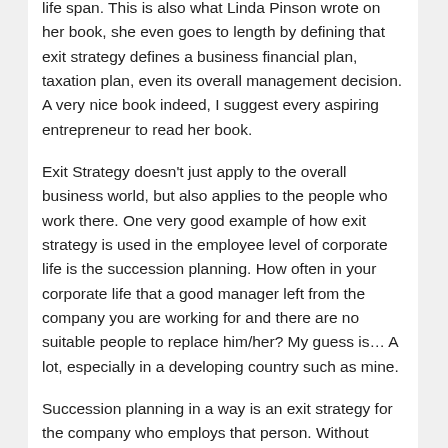life span. This is also what Linda Pinson wrote on her book, she even goes to length by defining that exit strategy defines a business financial plan, taxation plan, even its overall management decision. A very nice book indeed, I suggest every aspiring entrepreneur to read her book.
Exit Strategy doesn't just apply to the overall business world, but also applies to the people who work there. One very good example of how exit strategy is used in the employee level of corporate life is the succession planning. How often in your corporate life that a good manager left from the company you are working for and there are no suitable people to replace him/her? My guess is… A lot, especially in a developing country such as mine.
Succession planning in a way is an exit strategy for the company who employs that person. Without proper succession planning, most often than not a company will lose its asset and will distort its daily balanced function.